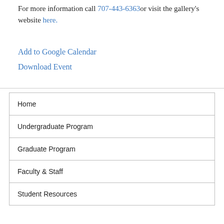For more information call 707-443-6363or visit the gallery's website here.
Add to Google Calendar
Download Event
Home
Undergraduate Program
Graduate Program
Faculty & Staff
Student Resources